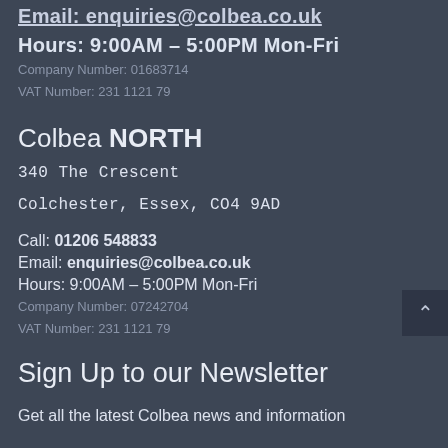Email: enquiries@colbea.co.uk (partial, cut off at top)
Hours: 9:00AM – 5:00PM Mon-Fri
Company Number: 01683714
VAT Number: 231 1121 79
Colbea NORTH
340 The Crescent
Colchester, Essex, CO4 9AD
Call: 01206 548833
Email: enquiries@colbea.co.uk
Hours: 9:00AM – 5:00PM Mon-Fri
Company Number: 07242704
VAT Number: 231 1121 79
Sign Up to our Newsletter
Get all the latest Colbea news and information on our training courses delivered straight to your